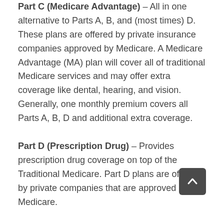Part C (Medicare Advantage) – All in one alternative to Parts A, B, and (most times) D. These plans are offered by private insurance companies approved by Medicare. A Medicare Advantage (MA) plan will cover all of traditional Medicare services and may offer extra coverage like dental, hearing, and vision. Generally, one monthly premium covers all Parts A, B, D and additional extra coverage.
Part D (Prescription Drug) – Provides prescription drug coverage on top of the Traditional Medicare. Part D plans are offered by private companies that are approved by Medicare.
When a beneficiary is eligible for Medicare, they can choose to enroll in a Part C plan that is offered by a private insurance company. Currently, about 1/2 of